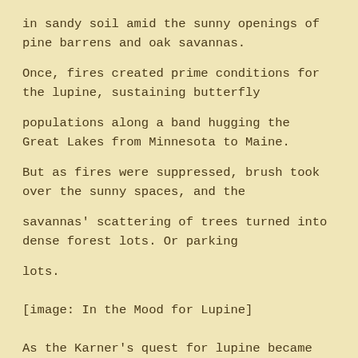in sandy soil amid the sunny openings of pine barrens and oak savannas.
Once, fires created prime conditions for the lupine, sustaining butterfly
populations along a band hugging the Great Lakes from Minnesota to Maine.
But as fires were suppressed, brush took over the sunny spaces, and the
savannas' scattering of trees turned into dense forest lots. Or parking
lots.
[Figure (illustration): [image: In the Mood for Lupine]]
As the Karner's quest for lupine became increasingly quixotic, its own
numbers declined. In 1992 the federal